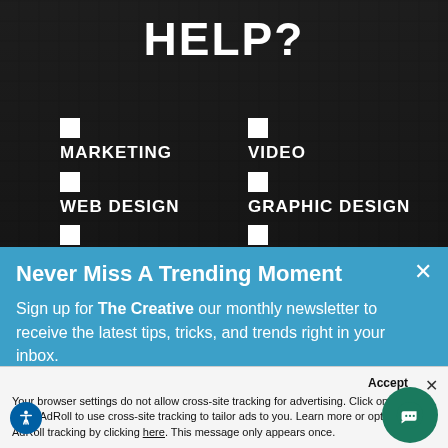[Figure (screenshot): Dark brick background with white text showing 'HELP?' and a checklist of services: MARKETING, VIDEO, WEB DESIGN, GRAPHIC DESIGN, BRAND, OTHER]
HELP?
MARKETING
VIDEO
WEB DESIGN
GRAPHIC DESIGN
BRAND
OTHER
Never Miss A Trending Moment
Sign up for The Creative our monthly newsletter to receive the latest tips, tricks, and trends right in your inbox.
Accept
Your browser settings do not allow cross-site tracking for advertising. Click on this to allow AdRoll to use cross-site tracking to tailor ads to you. Learn more or opt out of this AdRoll tracking by clicking here. This message only appears once.